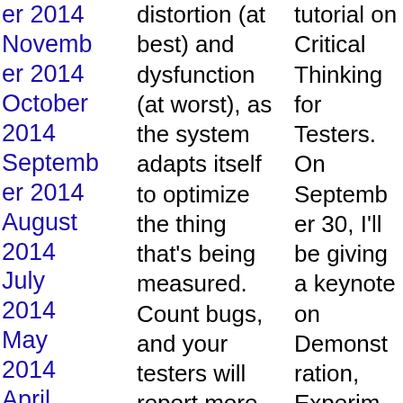er 2014
November 2014
October 2014
September 2014
August 2014
July 2014
May 2014
April 2014
March 2014
February
distortion (at best) and dysfunction (at worst), as the system adapts itself to optimize the thing that’s being measured. Count bugs, and your testers will report more bugs—but finding more bugs can get in the way of finding more important bugs. That’s at least in part because of…
Seventh, the Lumping Problem (or more formally, Assimiliation Bias). Testing is not a single activity; it’s a collection of activities that
tutorial on Critical Thinking for Testers. On September 30, I’ll be giving a keynote on Demonstration, Experiment, and Testing.